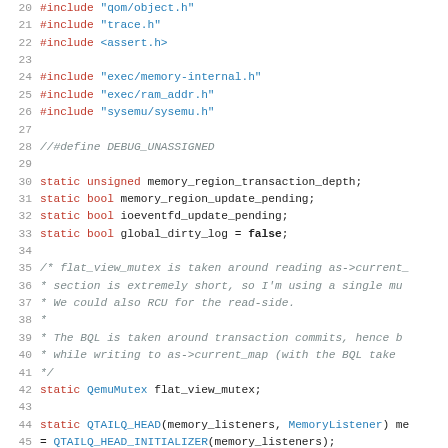Source code listing, lines 20-51, showing C code with #include directives, static variable declarations, comments, and function declarations for QEMU memory subsystem.